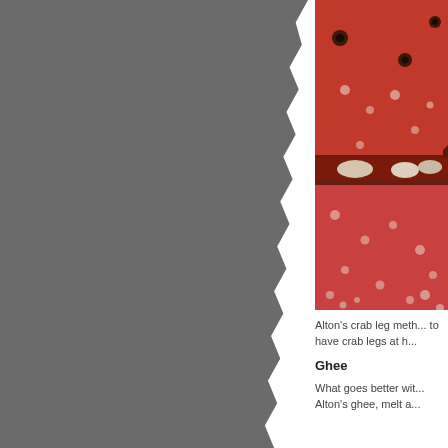[Figure (photo): Close-up photo of cooked crab legs, showing reddish-orange shell texture with white spots and small circular markings, partially cut open revealing white meat inside.]
Alton's crab leg meth... to have crab legs at h...
Ghee
What goes better wit... Alton's ghee, melt a...